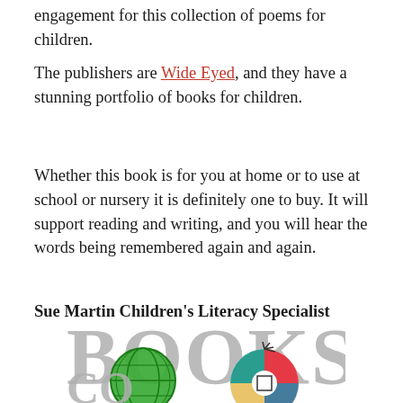engagement for this collection of poems for children.
The publishers are Wide Eyed, and they have a stunning portfolio of books for children.
Whether this book is for you at home or to use at school or nursery it is definitely one to buy. It will support reading and writing, and you will hear the words being remembered again and again.
Sue Martin Children’s Literacy Specialist
[Figure (logo): Books & Co logo — large grey text BOOKS with a green globe icon and a colorful circular emblem]